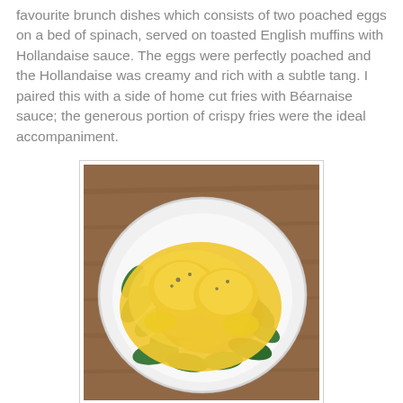favourite brunch dishes which consists of two poached eggs on a bed of spinach, served on toasted English muffins with Hollandaise sauce. The eggs were perfectly poached and the Hollandaise was creamy and rich with a subtle tang. I paired this with a side of home cut fries with Béarnaise sauce; the generous portion of crispy fries were the ideal accompaniment.
[Figure (photo): A white plate with two poached eggs covered in Hollandaise sauce on a bed of fresh spinach leaves, photographed from above on a wooden table background.]